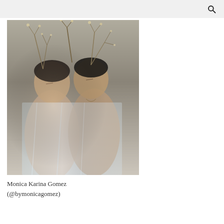🔍
[Figure (photo): Two women with closed eyes leaning together, wrapped in transparent plastic/cellophane, with dried flower branches in their hair against a concrete wall background. Artistic photography by Monica Karina Gomez.]
Monica Karina Gomez (@bymonicagomez)